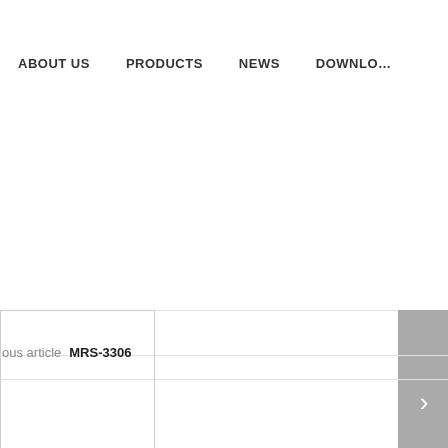ABOUT US   PRODUCTS   NEWS   DOWNLO...
[Figure (screenshot): Website slider/carousel area with a left thumbnail box outlined in gray, a main white content area, and a gray next-arrow button on the right]
[Figure (other): Red rectangle indicator/pagination dot on the left side]
ous article   MRS-3306